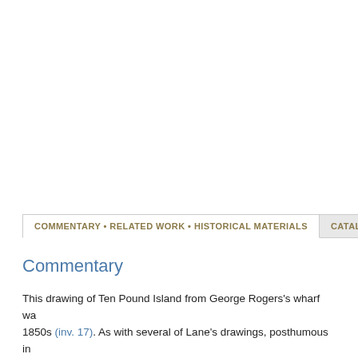[Figure (other): Blank white space at the top of the page where an image would appear]
COMMENTARY • RELATED WORK • HISTORICAL MATERIALS
Commentary
This drawing of Ten Pound Island from George Rogers's wharf wa... 1850s (inv. 17). As with several of Lane's drawings, posthumous in... several different paintings. James Craig has pointed out that the thr...